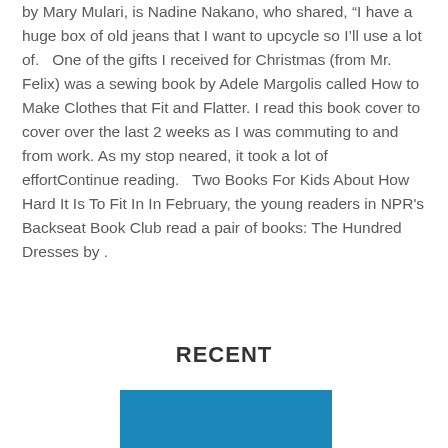by Mary Mulari, is Nadine Nakano, who shared, “I have a huge box of old jeans that I want to upcycle so I’ll use a lot of.   One of the gifts I received for Christmas (from Mr. Felix) was a sewing book by Adele Margolis called How to Make Clothes that Fit and Flatter. I read this book cover to cover over the last 2 weeks as I was commuting to and from work. As my stop neared, it took a lot of effortContinue reading.   Two Books For Kids About How Hard It Is To Fit In In February, the young readers in NPR's Backseat Book Club read a pair of books: The Hundred Dresses by .
RECENT
[Figure (photo): Partial blue rectangular image at the bottom of the page]